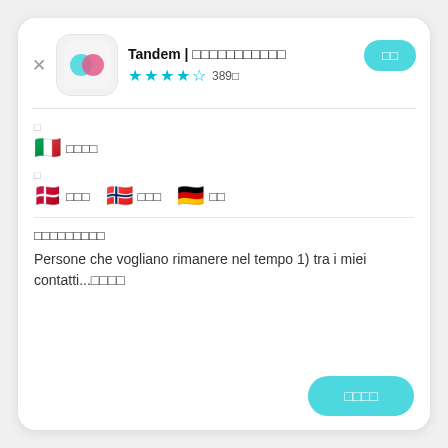Tandem | □□□□□□□□□□□
★★★★☆ 389□
□□
□
🇮🇹 □□□□
□
🇩🇰 □□□   🇳🇴 □□□   🇩🇪 □□
□□□□□□□□□
Persone che vogliano rimanere nel tempo 1) tra i miei contatti...□□□□
□□□□